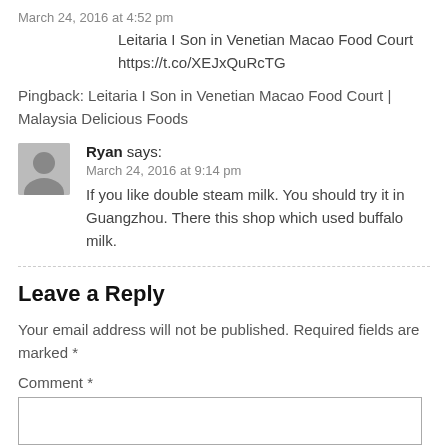March 24, 2016 at 4:52 pm
Leitaria I Son in Venetian Macao Food Court https://t.co/XEJxQuRcTG
Pingback: Leitaria I Son in Venetian Macao Food Court | Malaysia Delicious Foods
Ryan says:
March 24, 2016 at 9:14 pm
If you like double steam milk. You should try it in Guangzhou. There this shop which used buffalo milk.
Leave a Reply
Your email address will not be published. Required fields are marked *
Comment *